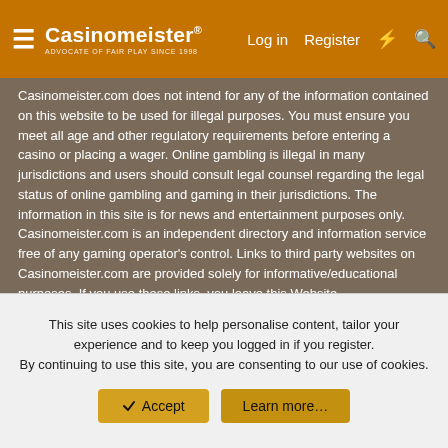Casinomeister® — Log in | Register
Casinomeister.com does not intend for any of the information contained on this website to be used for illegal purposes. You must ensure you meet all age and other regulatory requirements before entering a casino or placing a wager. Online gambling is illegal in many jurisdictions and users should consult legal counsel regarding the legal status of online gambling and gaming in their jurisdictions. The information in this site is for news and entertainment purposes only. Casinomeister.com is an independent directory and information service free of any gaming operator's control. Links to third party websites on Casinomeister.com are provided solely for informative/educational purposes. If you use these links, you leave this Website.
Copyright 1998-2022 all rights reserved. Casinomeister is a registered trademark. You scrape-a my site, I break-a you face!
Legal and Privacy Policy
CM Theme   English (US)
This site uses cookies to help personalise content, tailor your experience and to keep you logged in if you register. By continuing to use this site, you are consenting to our use of cookies.